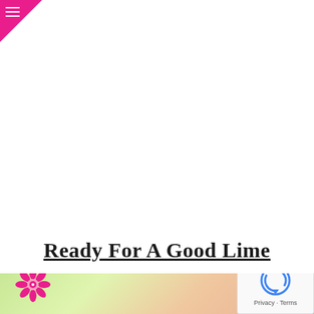≡
Ready For A Good Lime
[Figure (photo): Close-up photo of lime green nail polish bottle and painted nails with a small flower decoration, pink daisy icon visible in lower left]